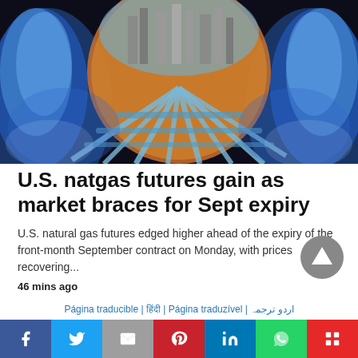[Figure (photo): Natural gas industrial facility/pipes visible through blue gas flame close-up, circular perspective]
U.S. natgas futures gain as market braces for Sept expiry
U.S. natural gas futures edged higher ahead of the expiry of the front-month September contract on Monday, with prices recovering...
46 mins ago
Página traducible | हिंदी | Página traduzível | اردو ترجمہ